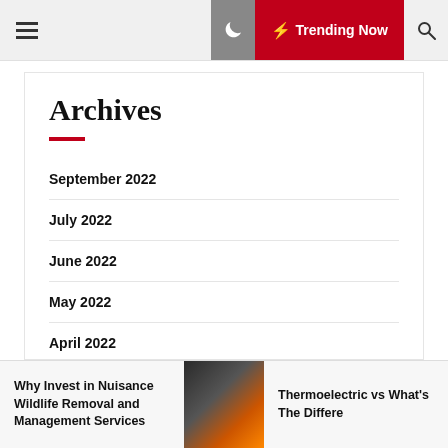☰  🌙  ⚡ Trending Now  🔍
Archives
September 2022
July 2022
June 2022
May 2022
April 2022
Why Invest in Nuisance Wildlife Removal and Management Services  |  Thermoelectric vs  What's The Differe